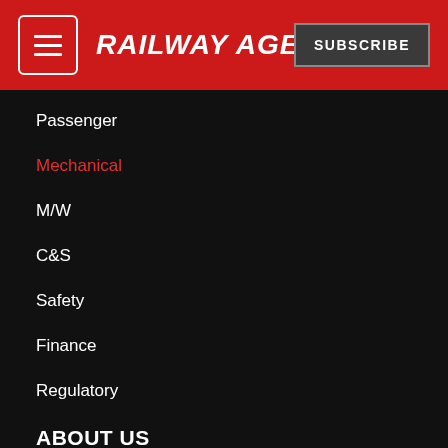RAILWAY AGE | SUBSCRIBE
Passenger
Mechanical
M/W
C&S
Safety
Finance
Regulatory
ABOUT US
About Us
Advertise
Contact Us